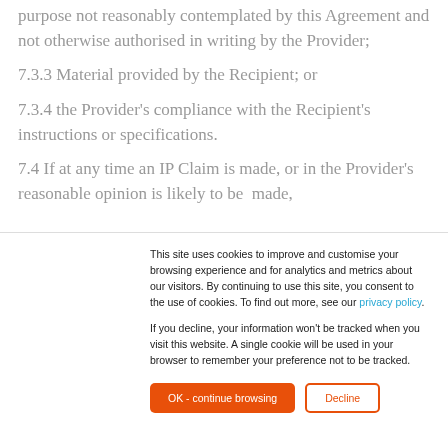purpose not reasonably contemplated by this Agreement and not otherwise authorised in writing by the Provider;
7.3.3 Material provided by the Recipient; or
7.3.4 the Provider's compliance with the Recipient's instructions or specifications.
7.4 If at any time an IP Claim is made, or in the Provider's reasonable opinion is likely to be made,
This site uses cookies to improve and customise your browsing experience and for analytics and metrics about our visitors. By continuing to use this site, you consent to the use of cookies. To find out more, see our privacy policy.
If you decline, your information won't be tracked when you visit this website. A single cookie will be used in your browser to remember your preference not to be tracked.